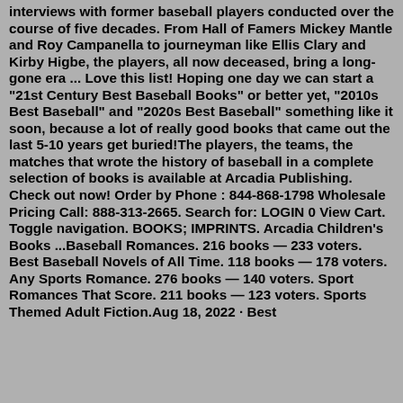interviews with former baseball players conducted over the course of five decades. From Hall of Famers Mickey Mantle and Roy Campanella to journeyman like Ellis Clary and Kirby Higbe, the players, all now deceased, bring a long-gone era ... Love this list! Hoping one day we can start a "21st Century Best Baseball Books" or better yet, "2010s Best Baseball" and "2020s Best Baseball" something like it soon, because a lot of really good books that came out the last 5-10 years get buried!The players, the teams, the matches that wrote the history of baseball in a complete selection of books is available at Arcadia Publishing. Check out now! Order by Phone : 844-868-1798 Wholesale Pricing Call: 888-313-2665. Search for: LOGIN 0 View Cart. Toggle navigation. BOOKS; IMPRINTS. Arcadia Children's Books ...Baseball Romances. 216 books — 233 voters. Best Baseball Novels of All Time. 118 books — 178 voters. Any Sports Romance. 276 books — 140 voters. Sport Romances That Score. 211 books — 123 voters. Sports Themed Adult Fiction.Aug 18, 2022 · Best